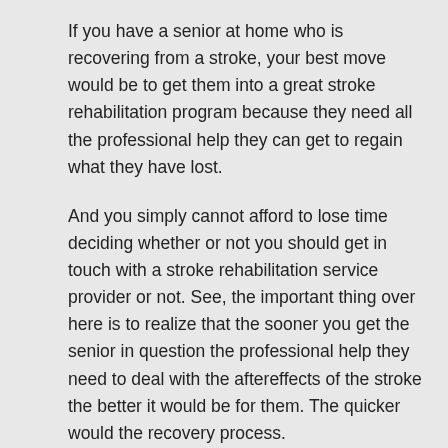If you have a senior at home who is recovering from a stroke, your best move would be to get them into a great stroke rehabilitation program because they need all the professional help they can get to regain what they have lost.
And you simply cannot afford to lose time deciding whether or not you should get in touch with a stroke rehabilitation service provider or not. See, the important thing over here is to realize that the sooner you get the senior in question the professional help they need to deal with the aftereffects of the stroke the better it would be for them. The quicker would the recovery process.